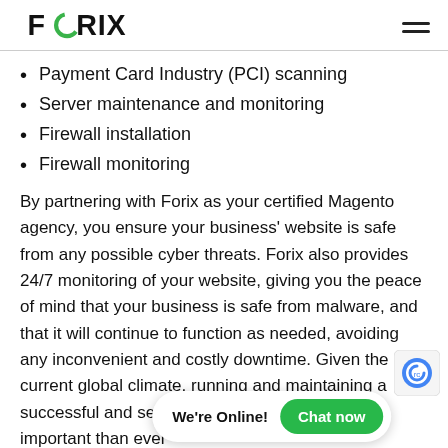FORIX
Payment Card Industry (PCI) scanning
Server maintenance and monitoring
Firewall installation
Firewall monitoring
By partnering with Forix as your certified Magento agency, you ensure your business' website is safe from any possible cyber threats. Forix also provides 24/7 monitoring of your website, giving you the peace of mind that your business is safe from malware, and that it will continue to function as needed, avoiding any inconvenient and costly downtime. Given the current global climate, running and maintaining a successful and secure eCommerce site is more important than ever, and Forix can help you do that.